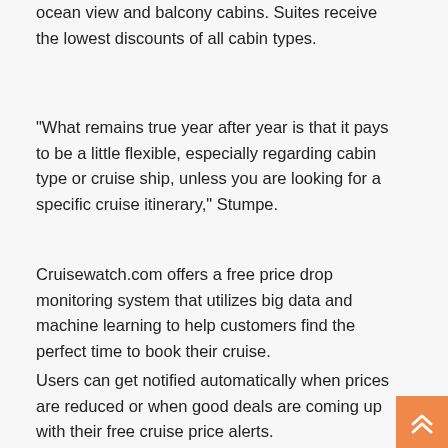ocean view and balcony cabins. Suites receive the lowest discounts of all cabin types.
“What remains true year after year is that it pays to be a little flexible, especially regarding cabin type or cruise ship, unless you are looking for a specific cruise itinerary,” Stumpe.
Cruisewatch.com offers a free price drop monitoring system that utilizes big data and machine learning to help customers find the perfect time to book their cruise.
Users can get notified automatically when prices are reduced or when good deals are coming up with their free cruise price alerts.